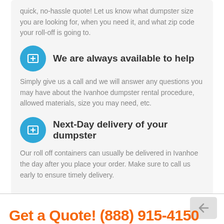quick, no-hassle quote! Let us know what dumpster size you are looking for, when you need it, and what zip code your roll-off is going to.
We are always available to help
Simply give us a call and we will answer any questions you may have about the Ivanhoe dumpster rental procedure, allowed materials, size you may need, etc.
Next-Day delivery of your dumpster
Our roll off containers can usually be delivered in Ivanhoe the day after you place your order. Make sure to call us early to ensure timely delivery.
Get a Quote! (888) 915-4150